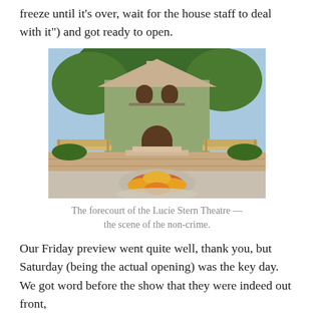freeze until it's over, wait for the house staff to deal with it") and got ready to open.
[Figure (photo): Exterior photograph of the Lucie Stern Theatre forecourt, showing an ivy-covered white building with a brick courtyard, wooden benches on either side, and a star-shaped flower planter in the foreground.]
The forecourt of the Lucie Stern Theatre — the scene of the non-crime.
Our Friday preview went quite well, thank you, but Saturday (being the actual opening) was the key day. We got word before the show that they were indeed out front,